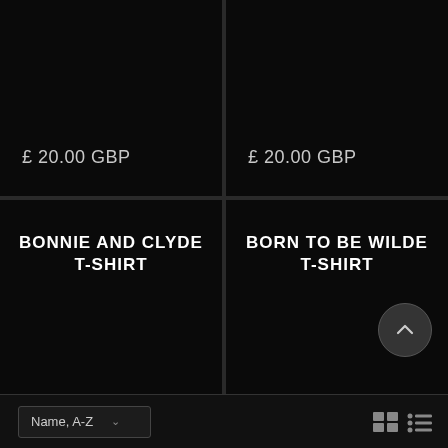£ 20.00 GBP
£ 20.00 GBP
BONNIE AND CLYDE T-SHIRT
BORN TO BE WILDE T-SHIRT
Name, A-Z